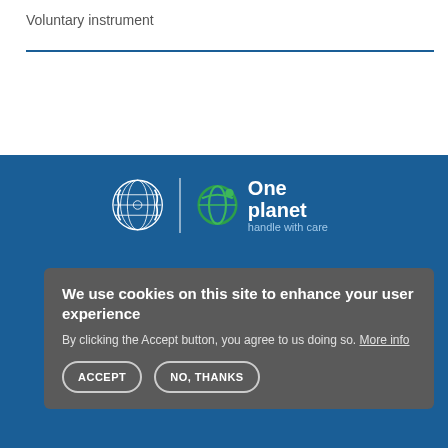Voluntary instrument
[Figure (logo): UN emblem and 'One planet handle with care' logo on blue background]
We use cookies on this site to enhance your user experience
By clicking the Accept button, you agree to us doing so. More info
ACCEPT   NO, THANKS
SIGN UP FOR THE ONE PLANET NETWORK
for updates from the One Planet network, the
framework on SDG 12.
GO